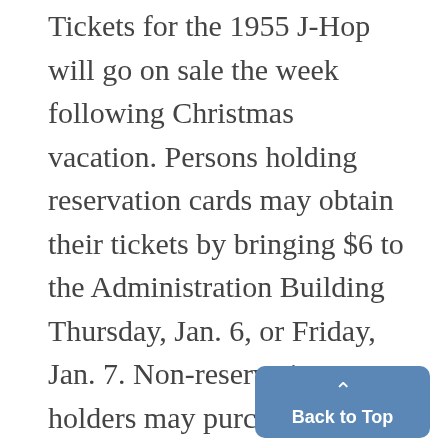Tickets for the 1955 J-Hop will go on sale the week following Christmas vacation. Persons holding reservation cards may obtain their tickets by bringing $6 to the Administration Building Thursday, Jan. 6, or Friday, Jan. 7. Non-reservation holders may purchase tickets between Jan. 10 and 14 for $7 per couple. The committee has announced that there will be no guarantee, of obtaining a ticket after Jan. 7, however.